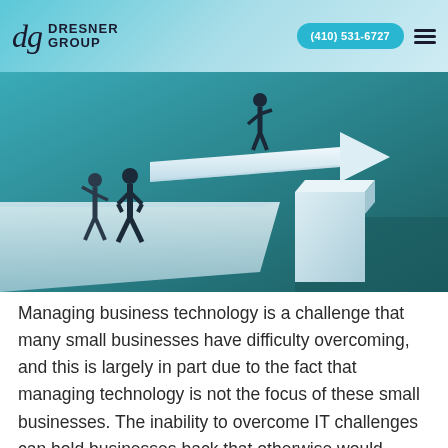DRESNER GROUP | (410) 531-6727
[Figure (illustration): Business concept illustration on teal/dark green background showing two figures standing at the edge of a gap or cliff, looking at a large white arrow leaping across the gap and pointing upward to the right. A person in a suit appears to be falling or flying above. The scene represents bridging a gap or overcoming a business challenge.]
Managing business technology is a challenge that many small businesses have difficulty overcoming, and this is largely in part due to the fact that managing technology is not the focus of these small businesses. The inability to overcome IT challenges can hold businesses back that otherwise would flourish. Let’s discuss some of the biggest issues that companies have for IT and how they could potentially be addressed.